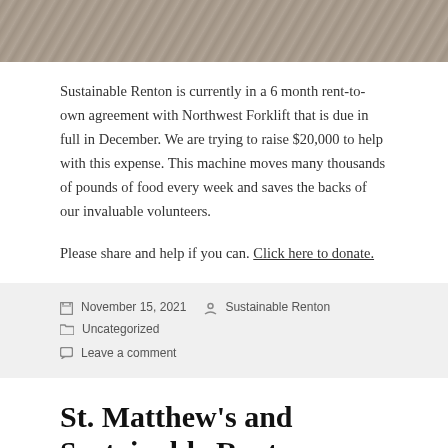[Figure (photo): Top portion of a textured gray/brown surface photo, cropped at the top of the page]
Sustainable Renton is currently in a 6 month rent-to-own agreement with Northwest Forklift that is due in full in December. We are trying to raise $20,000 to help with this expense. This machine moves many thousands of pounds of food every week and saves the backs of our invaluable volunteers.
Please share and help if you can. Click here to donate.
November 15, 2021   Sustainable Renton   Uncategorized   Leave a comment
St. Matthew's and Sustainable Renton collaborate for a